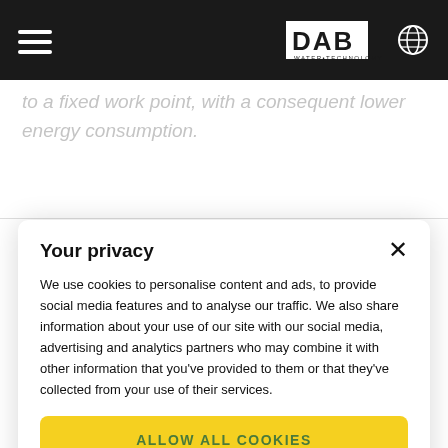DAB Water Technology navigation header with hamburger menu and logo
to a fixed work point, with a consequent lower energy consumption.
Your privacy
We use cookies to personalise content and ads, to provide social media features and to analyse our traffic. We also share information about your use of our site with our social media, advertising and analytics partners who may combine it with other information that you've provided to them or that they've collected from your use of their services.
ALLOW ALL COOKIES
CUSTOMIZE